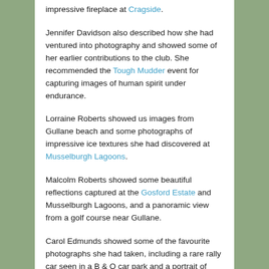impressive fireplace at Cragside.
Jennifer Davidson also described how she had ventured into photography and showed some of her earlier contributions to the club. She recommended the Tough Mudder event for capturing images of human spirit under endurance.
Lorraine Roberts showed us images from Gullane beach and some photographs of impressive ice textures she had discovered at Musselburgh Lagoons.
Malcolm Roberts showed some beautiful reflections captured at the Gosford Estate and Musselburgh Lagoons, and a panoramic view from a golf course near Gullane.
Carol Edmunds showed some of the favourite photographs she had taken, including a rare rally car seen in a B & Q car park and a portrait of Colin Baker she had captured captured at a Comic Con event.
Thank you to everybody who brought along their special images to entertain us.